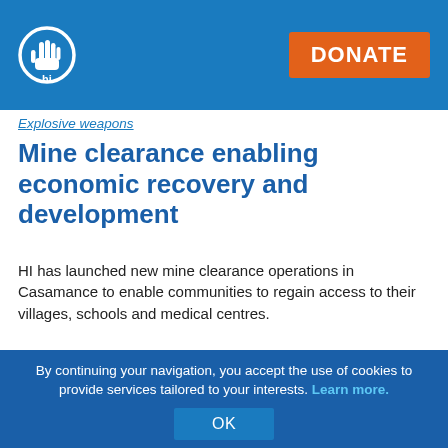HI logo and DONATE button in blue header bar
Explosive weapons
Mine clearance enabling economic recovery and development
HI has launched new mine clearance operations in Casamance to enable communities to regain access to their villages, schools and medical centres.
[Figure (photo): Conference room with people seated, wooden wall paneling, striped ceiling, and a projection screen]
By continuing your navigation, you accept the use of cookies to provide services tailored to your interests. Learn more.
OK